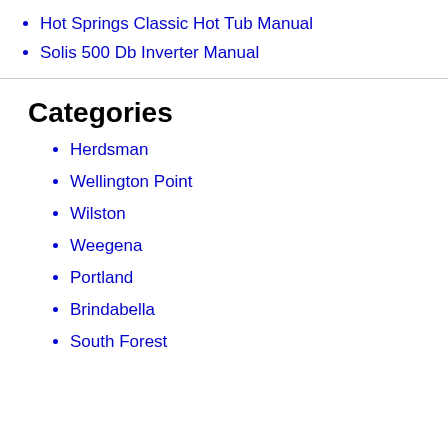Hot Springs Classic Hot Tub Manual
Solis 500 Db Inverter Manual
Categories
Herdsman
Wellington Point
Wilston
Weegena
Portland
Brindabella
South Forest